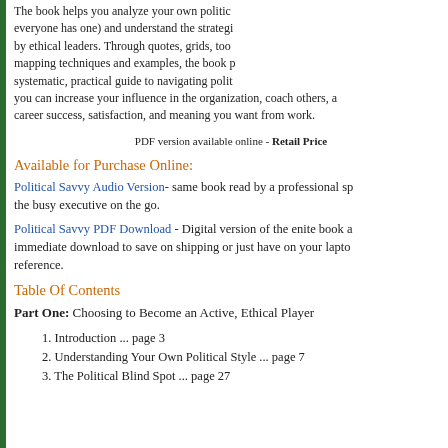The book helps you analyze your own politic... everyone has one) and understand the strategi... by ethical leaders. Through quotes, grids, too... mapping techniques and examples, the book p... systematic, practical guide to navigating polit... you can increase your influence in the organization, coach others, a... career success, satisfaction, and meaning you want from work.
PDF version available online - Retail Price
Available for Purchase Online:
Political Savvy Audio Version- same book read by a professional sp... the busy executive on the go.
Political Savvy PDF Download - Digital version of the enite book a... immediate download to save on shipping or just have on your lapto... reference.
Table Of Contents
Part One: Choosing to Become an Active, Ethical Player
1. Introduction ... page 3
2. Understanding Your Own Political Style ... page 7
3. The Political Blind Spot ... page 27